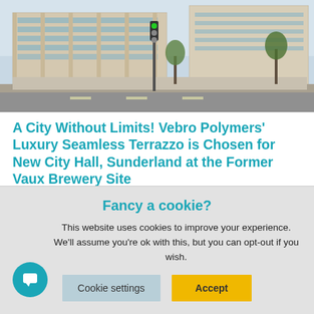[Figure (photo): Street-level photo of a modern city hall building with glass facade, traffic lights, and road intersection in the foreground]
A City Without Limits! Vebro Polymers' Luxury Seamless Terrazzo is Chosen for New City Hall, Sunderland at the Former Vaux Brewery Site
25th January 2022
Vebro Polymers supplied its decorative epoxy terrazzo flooring system, vebro Classic Terrazzo, as part of the flooring package at
Fancy a cookie?
This website uses cookies to improve your experience. We'll assume you're ok with this, but you can opt-out if you wish.
Cookie settings | Accept